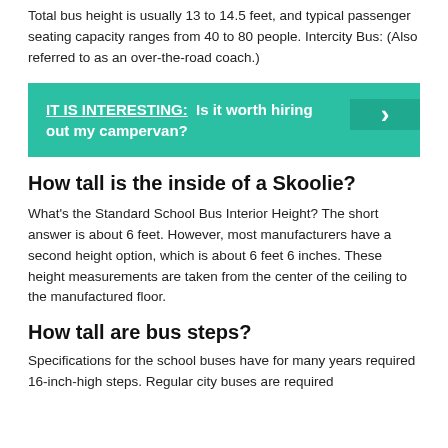Total bus height is usually 13 to 14.5 feet, and typical passenger seating capacity ranges from 40 to 80 people. Intercity Bus: (Also referred to as an over-the-road coach.)
[Figure (infographic): Teal banner with text 'IT IS INTERESTING: Is it worth hiring out my campervan?' and a right-arrow chevron button on a darker teal background on the right side.]
How tall is the inside of a Skoolie?
What's the Standard School Bus Interior Height? The short answer is about 6 feet. However, most manufacturers have a second height option, which is about 6 feet 6 inches. These height measurements are taken from the center of the ceiling to the manufactured floor.
How tall are bus steps?
Specifications for the school buses have for many years required 16-inch-high steps. Regular city buses are required